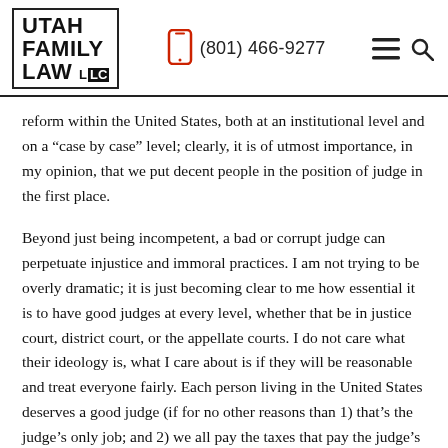UTAH FAMILY LAW LLC | (801) 466-9277
reform within the United States, both at an institutional level and on a “case by case” level; clearly, it is of utmost importance, in my opinion, that we put decent people in the position of judge in the first place.
Beyond just being incompetent, a bad or corrupt judge can perpetuate injustice and immoral practices. I am not trying to be overly dramatic; it is just becoming clear to me how essential it is to have good judges at every level, whether that be in justice court, district court, or the appellate courts. I do not care what their ideology is, what I care about is if they will be reasonable and treat everyone fairly. Each person living in the United States deserves a good judge (if for no other reasons than 1) that’s the judge’s only job; and 2) we all pay the taxes that pay the judge’s salary), a judge who will be honest and impartial in their decisions. Everyone deserves a judge who will hear their case and